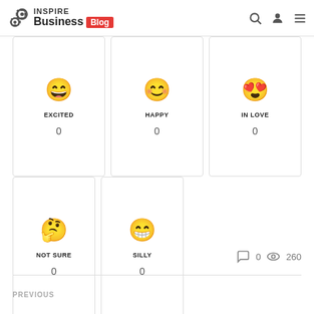INSPIRE Business Blog
[Figure (infographic): Reaction cards with emojis: EXCITED (0), HAPPY (0), IN LOVE (0)]
[Figure (infographic): Reaction cards with emojis: NOT SURE (0), SILLY (0)]
0  260
PREVIOUS